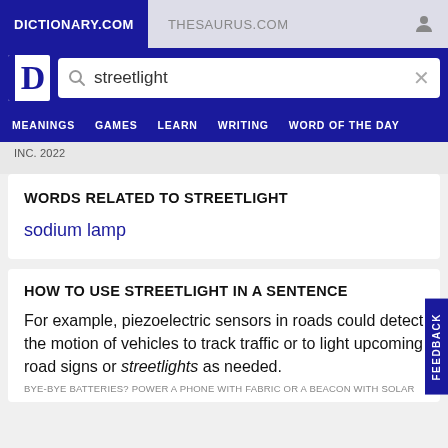DICTIONARY.COM | THESAURUS.COM
streetlight
MEANINGS  GAMES  LEARN  WRITING  WORD OF THE DAY
INC. 2022
WORDS RELATED TO STREETLIGHT
sodium lamp
HOW TO USE STREETLIGHT IN A SENTENCE
For example, piezoelectric sensors in roads could detect the motion of vehicles to track traffic or to light upcoming road signs or streetlights as needed.
BYE-BYE BATTERIES? POWER A PHONE WITH FABRIC OR A BEACON WITH SOLAR | MATH INNIAH | JANUARY 5, 2022 | SCIENCE NEWS